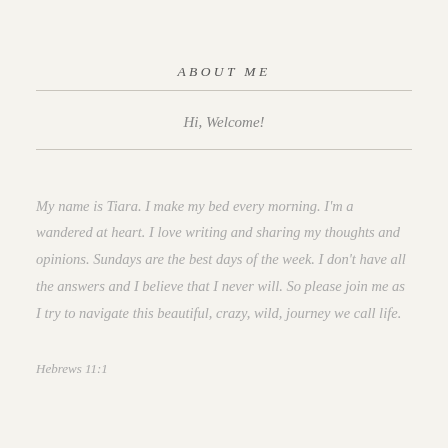ABOUT ME
Hi, Welcome!
My name is Tiara. I make my bed every morning. I'm a wandered at heart. I love writing and sharing my thoughts and opinions. Sundays are the best days of the week. I don't have all the answers and I believe that I never will. So please join me as I try to navigate this beautiful, crazy, wild, journey we call life.
Hebrews 11:1